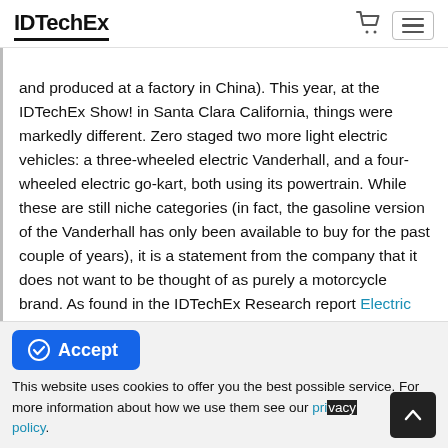IDTechEx
and produced at a factory in China). This year, at the IDTechEx Show! in Santa Clara California, things were markedly different. Zero staged two more light electric vehicles: a three-wheeled electric Vanderhall, and a four-wheeled electric go-kart, both using its powertrain. While these are still niche categories (in fact, the gasoline version of the Vanderhall has only been available to buy for the past couple of years), it is a statement from the company that it does not want to be thought of as purely a motorcycle brand. As found in the IDTechEx Research report Electric Two-Wheelers 2019 - 2029, it reflects a stagnating motorcycle industry, which has been unable to attract a new
This website uses cookies to offer you the best possible service. For more information about how we use them see our privacy policy.